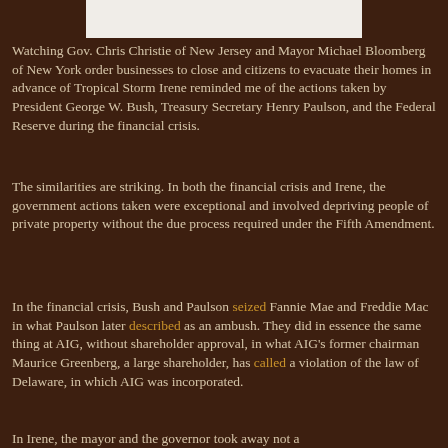[Figure (other): Image placeholder at top of page]
Watching Gov. Chris Christie of New Jersey and Mayor Michael Bloomberg of New York order businesses to close and citizens to evacuate their homes in advance of Tropical Storm Irene reminded me of the actions taken by President George W. Bush, Treasury Secretary Henry Paulson, and the Federal Reserve during the financial crisis.
The similarities are striking. In both the financial crisis and Irene, the government actions taken were exceptional and involved depriving people of private property without the due process required under the Fifth Amendment.
In the financial crisis, Bush and Paulson seized Fannie Mae and Freddie Mac in what Paulson later described as an ambush. They did in essence the same thing at AIG, without shareholder approval, in what AIG's former chairman Maurice Greenberg, a large shareholder, has called a violation of the law of Delaware, in which AIG was incorporated.
In Irene, the mayor and the governor took away not a